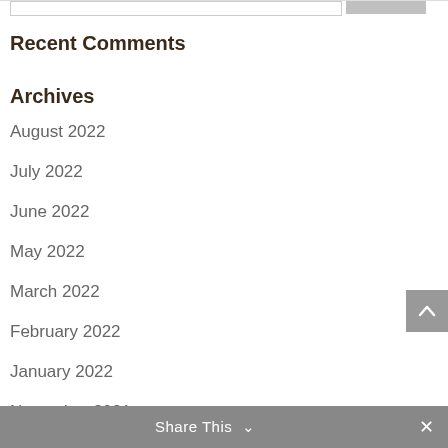Recent Comments
Archives
August 2022
July 2022
June 2022
May 2022
March 2022
February 2022
January 2022
November 2021
October 2021
August 2021
Share This  ×